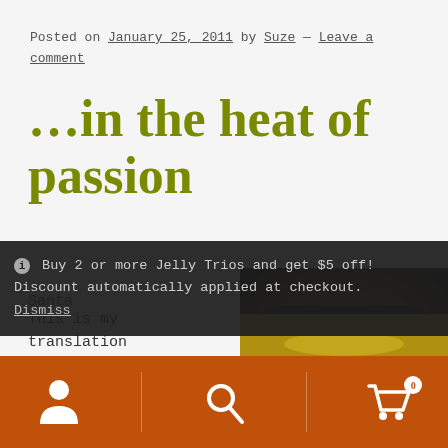Posted on January 25, 2011 by Suze — Leave a comment
…in the heat of passion
This is my translation of
[Figure (photo): Dark overhead photo of a bowl containing a yellow sauce or liquid on a dark background]
Santa
[Figure (photo): Yellow/golden food item, partially visible at bottom of page]
ⓘ Buy 2 or more Jelly Trios and get $5 off! Discount automatically applied at checkout. Dismiss
[Figure (other): Bottom navigation bar with person icon, search icon, and shopping cart icon with badge showing 0, on orange/brown background]